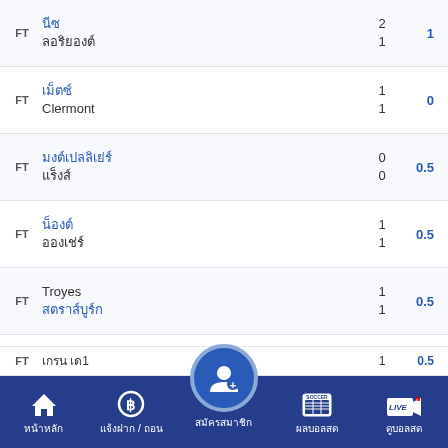| Status | Home Team | Away Team | Score | Handicap |
| --- | --- | --- | --- | --- |
| FT | นีซ | ลอริยองต์ | 2
1 | 1 |
| FT | เม็ตซ์ | Clermont | 1
1 | 0 |
| FT | มงต์เปลลิเย่ร์ | แร็งส์ | 0
0 | 0.5 |
| FT | น็องต์ | อองเช่ร์ | 1
1 | 0.5 |
| FT | Troyes | สตราส์บูร์ก | 1
1 | 0.5 |
| FT | โอลิมปิก ลียง | บอร์กโดซ์ | 6
1 | 1.5 |
| FT | ปารีส เผยด์เฟร์ถแมง | ... | 2 | ... |
หน้าหลัก | แจ้งฝาก / ถอน | สมัครสมาชิก | ผลบอลสด | ดูบอลสด
FT เกรน เด1 0.5